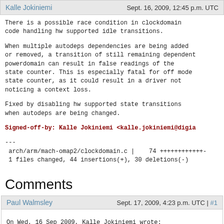Kalle Jokiniemi   Sept. 16, 2009, 12:45 p.m. UTC
There is a possible race condition in clockdomain code handling hw supported idle transitions.

When multiple autodeps dependencies are being added or removed, a transition of still remaining dependent powerdomain can result in false readings of the state counter. This is especially fatal for off mode state counter, as it could result in a driver not noticing a context loss.

Fixed by disabling hw supported state transitions when autodeps are being changed.
Signed-off-by: Kalle Jokiniemi <kalle.jokiniemi@digi...
---
 arch/arm/mach-omap2/clockdomain.c |   74 +++++++++++-
 1 files changed, 44 insertions(+), 30 deletions(-)
Comments
Paul Walmsley   Sept. 17, 2009, 4:23 p.m. UTC | #1
On Wed, 16 Sep 2009, Kalle Jokiniemi wrote:
> There is a possible race condition in clockdomain